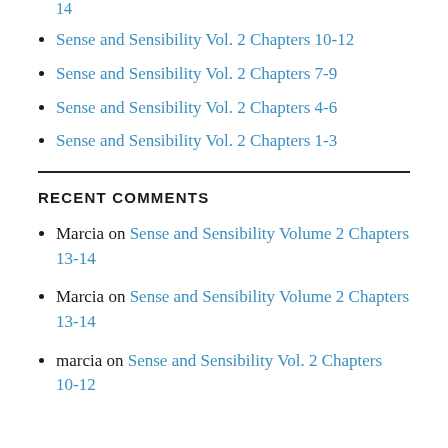14
Sense and Sensibility Vol. 2 Chapters 10-12
Sense and Sensibility Vol. 2 Chapters 7-9
Sense and Sensibility Vol. 2 Chapters 4-6
Sense and Sensibility Vol. 2 Chapters 1-3
RECENT COMMENTS
Marcia on Sense and Sensibility Volume 2 Chapters 13-14
Marcia on Sense and Sensibility Volume 2 Chapters 13-14
marcia on Sense and Sensibility Vol. 2 Chapters 10-12